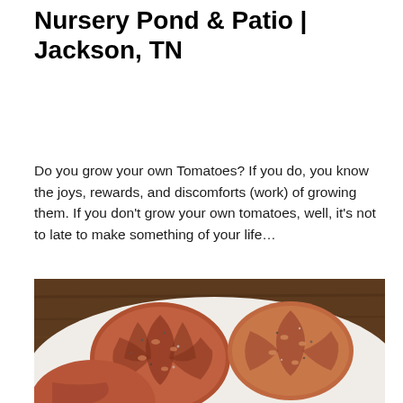Nursery Pond & Patio | Jackson, TN
Do you grow your own Tomatoes? If you do, you know the joys, rewards, and discomforts (work) of growing them. If you don't grow your own tomatoes, well, it's not to late to make something of your life…
[Figure (photo): Sliced heirloom tomatoes with salt and pepper on a white plate, on a wooden table background]